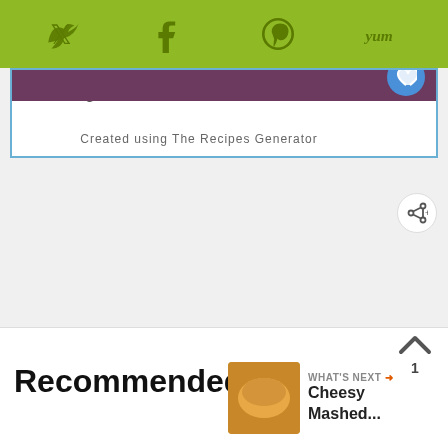[Twitter icon] [Facebook icon] [Pinterest icon] [Yum icon]
enough time to melt and then serve.
[Figure (infographic): Purple promotional box with Instagram icon on left. Text: 'Did you make this recipe? Tag @aglugofoil on instagram and hashtag it #glugofoil']
Created using The Recipes Generator
Recommended
[Figure (infographic): WHAT'S NEXT arrow label with Cheesy Mashed... text and food thumbnail image]